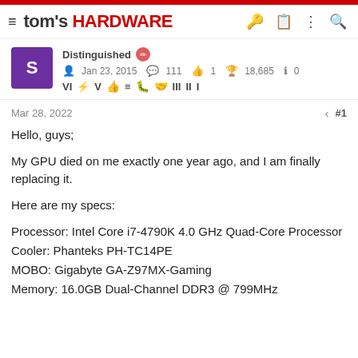tom's HARDWARE
Distinguished | Jan 23, 2015 | 111 | 1 | 18,685 | 0
Mar 28, 2022 #1
Hello, guys;
My GPU died on me exactly one year ago, and I am finally replacing it.
Here are my specs:
Processor: Intel Core i7-4790K 4.0 GHz Quad-Core Processor
Cooler: Phanteks PH-TC14PE
MOBO: Gigabyte GA-Z97MX-Gaming
Memory: 16.0GB Dual-Channel DDR3 @ 799MHz